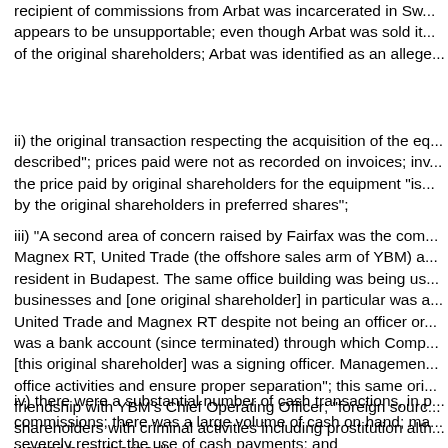recipient of commissions from Arbat was incarcerated in Sw... appears to be unsupportable; even though Arbat was sold it... of the original shareholders; Arbat was identified as an allege...
ii) the original transaction respecting the acquisition of the eq... described"; prices paid were not as recorded on invoices; inv... the price paid by original shareholders for the equipment "is... by the original shareholders in preferred shares";
iii) "A second area of concern raised by Fairfax was the com... Magnex RT, United Trade (the offshore sales arm of YBM) a... resident in Budapest. The same office building was being us... businesses and [one original shareholder] in particular was a... United Trade and Magnex RT despite not being an officer or... was a bank account (since terminated) through which Comp... [this original shareholder] was a signing officer. Managemen... office activities and ensure proper separation"; this same ori... friendship with YBM's Chief Operating Officer; "foreign sourc... shareholders with criminal activities including prostitution alth... wanted by authorities";
iv) there were a substantial number of cash transactions, in p... commissions; there was a large volume of cash on hand; ma... severely restrict the use of cash payments; and